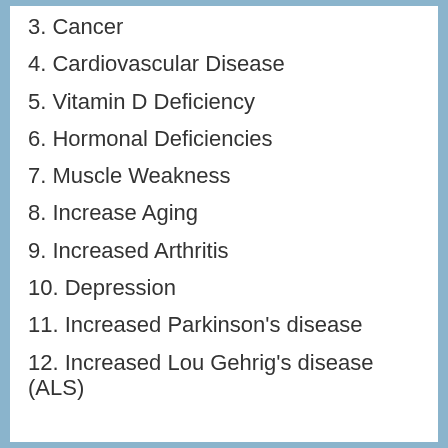3. Cancer
4. Cardiovascular Disease
5. Vitamin D Deficiency
6. Hormonal Deficiencies
7. Muscle Weakness
8. Increase Aging
9. Increased Arthritis
10. Depression
11. Increased Parkinson's disease
12. Increased Lou Gehrig's disease (ALS)